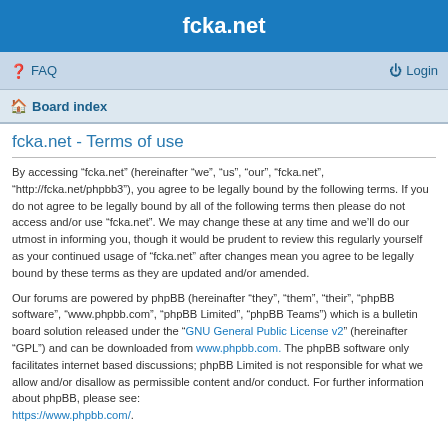fcka.net
FAQ | Login
Board index
fcka.net - Terms of use
By accessing “fcka.net” (hereinafter “we”, “us”, “our”, “fcka.net”, “http://fcka.net/phpbb3”), you agree to be legally bound by the following terms. If you do not agree to be legally bound by all of the following terms then please do not access and/or use “fcka.net”. We may change these at any time and we’ll do our utmost in informing you, though it would be prudent to review this regularly yourself as your continued usage of “fcka.net” after changes mean you agree to be legally bound by these terms as they are updated and/or amended.
Our forums are powered by phpBB (hereinafter “they”, “them”, “their”, “phpBB software”, “www.phpbb.com”, “phpBB Limited”, “phpBB Teams”) which is a bulletin board solution released under the “GNU General Public License v2” (hereinafter “GPL”) and can be downloaded from www.phpbb.com. The phpBB software only facilitates internet based discussions; phpBB Limited is not responsible for what we allow and/or disallow as permissible content and/or conduct. For further information about phpBB, please see: https://www.phpbb.com/.